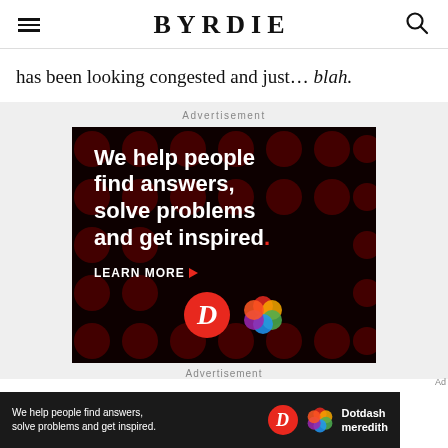BYRDIE
has been looking congested and just… blah.
Advertisement
[Figure (infographic): Dotdash Meredith advertisement on black background with large dark red polka dots. White bold text reads: We help people find answers, solve problems and get inspired. With a red period. Below: LEARN MORE with a red arrow, and two logos: a red circle with italic D, and a colorful flower/Celtic knot logo.]
Advertisement
[Figure (infographic): Bottom sticky ad strip: dark background, text 'We help people find answers, solve problems and get inspired.' with Dotdash Meredith logos and brand name.]